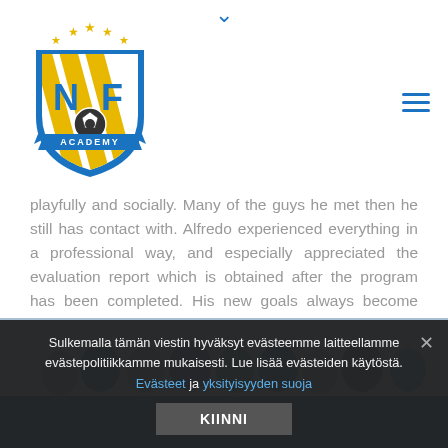[Figure (logo): NFV Academy football/soccer academy logo — shield shape with blue and gold colors, stars on top, soccer ball in center, 'NF' letters and striped design]
playfully and socially. Many of the guys he met then he still has contact with. Alfredo experienced everything in a professional way, and especially appreciated the evaluation report which is obtained after the program has been completed. His new goals always become clearer with it.
[Figure (photo): Group photo of people, partially visible behind cookie consent banner, blue-toned background]
Sulkemalla tämän viestin hyväksyt evästeemme laitteellamme evästepolitiikkamme mukaisesti. Lue lisää evästeiden käytöstä.
Evästeet ja yksityisyyden suoja
KIINNI